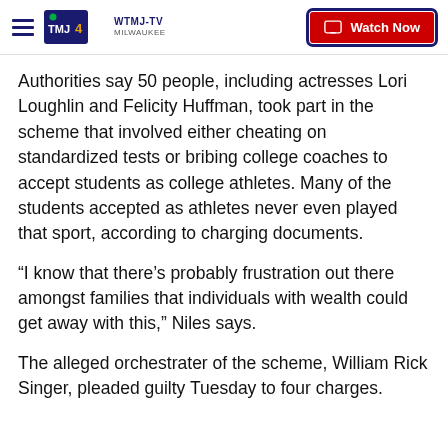WTMJ-TV MILWAUKEE | Watch Now
Authorities say 50 people, including actresses Lori Loughlin and Felicity Huffman, took part in the scheme that involved either cheating on standardized tests or bribing college coaches to accept students as college athletes. Many of the students accepted as athletes never even played that sport, according to charging documents.
“I know that there’s probably frustration out there amongst families that individuals with wealth could get away with this,” Niles says.
The alleged orchestrater of the scheme, William Rick Singer, pleaded guilty Tuesday to four charges.